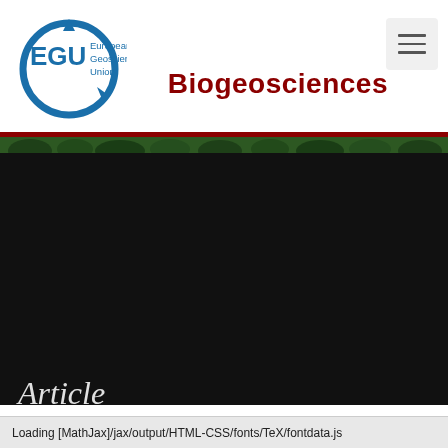[Figure (logo): EGU European Geosciences Union logo — circular blue emblem with 'EGU' text and 'European Geosciences Union' wordmark]
Biogeosciences
[Figure (photo): Narrow green strip showing treetops, followed by a large dark/black area representing a darkened nature photograph]
Article
Loading [MathJax]/jax/output/HTML-CSS/fonts/TeX/fontdata.js